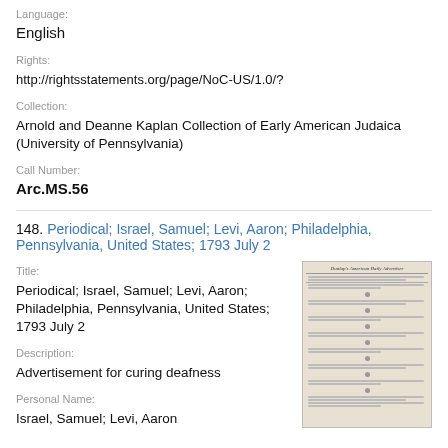Language:
English
Rights:
http://rightsstatements.org/page/NoC-US/1.0/?
Collection:
Arnold and Deanne Kaplan Collection of Early American Judaica (University of Pennsylvania)
Call Number:
Arc.MS.56
148. Periodical; Israel, Samuel; Levi, Aaron; Philadelphia, Pennsylvania, United States; 1793 July 2
Title:
Periodical; Israel, Samuel; Levi, Aaron; Philadelphia, Pennsylvania, United States; 1793 July 2
Description:
Advertisement for curing deafness
Personal Name:
Israel, Samuel; Levi, Aaron
[Figure (photo): Thumbnail image of a historical newspaper, Dunlap's American Daily Advertiser, showing dense columns of text.]